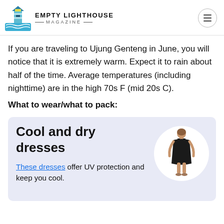Empty Lighthouse Magazine
If you are traveling to Ujung Genteng in June, you will notice that it is extremely warm. Expect it to rain about half of the time. Average temperatures (including nighttime) are in the high 70s F (mid 20s C).
What to wear/what to pack:
[Figure (illustration): Card with text 'Cool and dry dresses' and an image of a woman in a black dress inside a white circle on a light blue/lavender card background. Includes link text 'These dresses offer UV protection and keep you cool.']